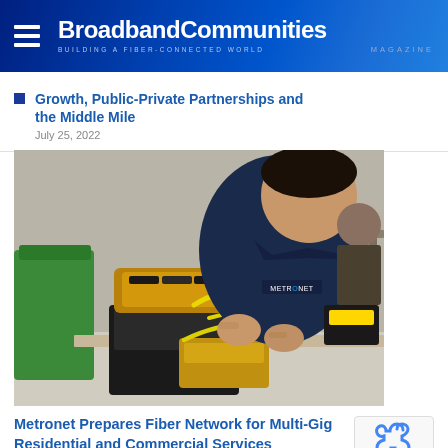BroadbandCommunities Magazine — Building a Fiber-Connected World
Growth, Public-Private Partnerships and the Middle Mile
July 25, 2022
[Figure (photo): A Metronet technician in a navy blue polo shirt working with fiber optic splicing equipment on a workbench, with yellow fiber cables and a fusion splicer device visible.]
Metronet Prepares Fiber Network for Multi-Gig Residential and Commercial Services
June 20, 2022